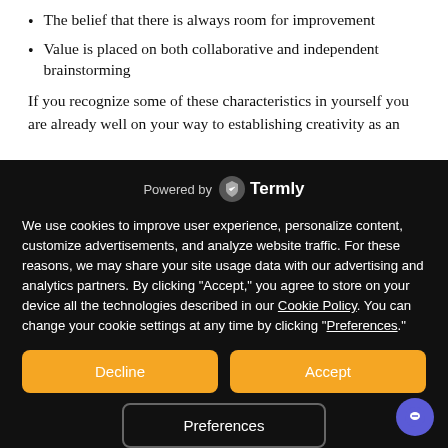The belief that there is always room for improvement
Value is placed on both collaborative and independent brainstorming
If you recognize some of these characteristics in yourself you are already well on your way to establishing creativity as an
[Figure (logo): Powered by Termly logo with shield icon]
We use cookies to improve user experience, personalize content, customize advertisements, and analyze website traffic. For these reasons, we may share your site usage data with our advertising and analytics partners. By clicking “Accept,” you agree to store on your device all the technologies described in our Cookie Policy. You can change your cookie settings at any time by clicking “Preferences.”